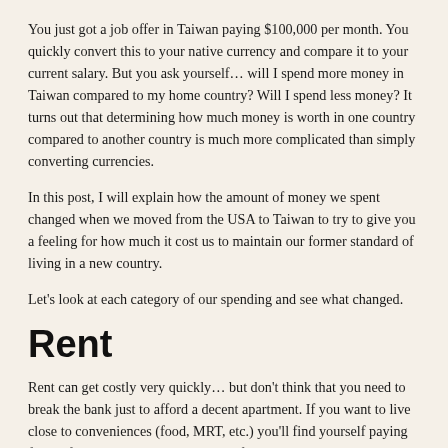You just got a job offer in Taiwan paying $100,000 per month. You quickly convert this to your native currency and compare it to your current salary. But you ask yourself… will I spend more money in Taiwan compared to my home country? Will I spend less money? It turns out that determining how much money is worth in one country compared to another country is much more complicated than simply converting currencies.
In this post, I will explain how the amount of money we spent changed when we moved from the USA to Taiwan to try to give you a feeling for how much it cost us to maintain our former standard of living in a new country.
Let's look at each category of our spending and see what changed.
Rent
Rent can get costly very quickly… but don't think that you need to break the bank just to afford a decent apartment. If you want to live close to conveniences (food, MRT, etc.) you'll find yourself paying for it. If you want to save money, try finding a place which is not terribly close to an